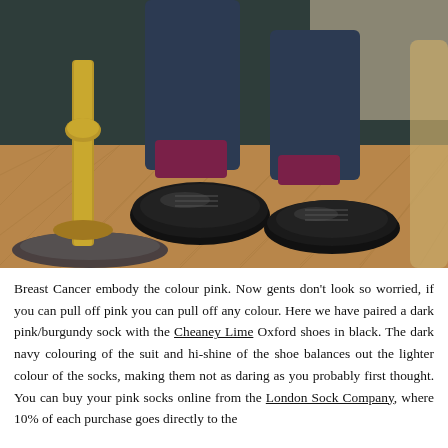[Figure (photo): A person wearing a dark navy suit with burgundy/dark pink socks and black Oxford dress shoes, standing on a herringbone parquet floor next to a brass candlestick holder.]
Breast Cancer embody the colour pink. Now gents don't look so worried, if you can pull off pink you can pull off any colour. Here we have paired a dark pink/burgundy sock with the Cheaney Lime Oxford shoes in black. The dark navy colouring of the suit and hi-shine of the shoe balances out the lighter colour of the socks, making them not as daring as you probably first thought. You can buy your pink socks online from the London Sock Company, where 10% of each purchase goes directly to the